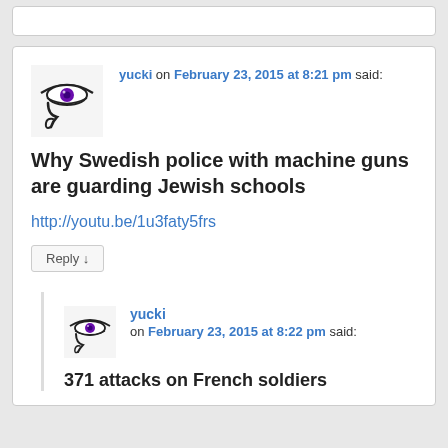yucki on February 23, 2015 at 8:21 pm said: Why Swedish police with machine guns are guarding Jewish schools http://youtu.be/1u3faty5frs
Reply
yucki on February 23, 2015 at 8:22 pm said: 371 attacks on French soldiers